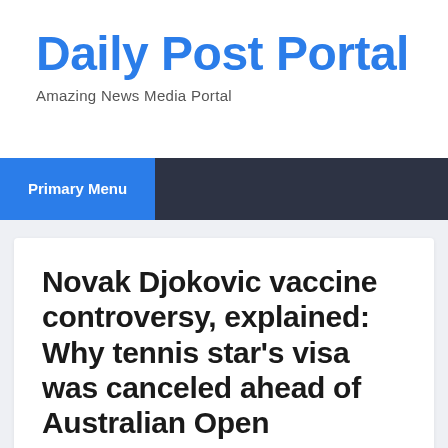Daily Post Portal
Amazing News Media Portal
Primary Menu
Novak Djokovic vaccine controversy, explained: Why tennis star's visa was canceled ahead of Australian Open